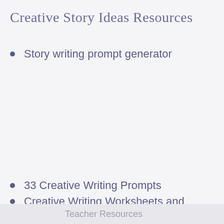Creative Story Ideas Resources
Story writing prompt generator
33 Creative Writing Prompts
Creative Writing Worksheets and
Teacher Resources